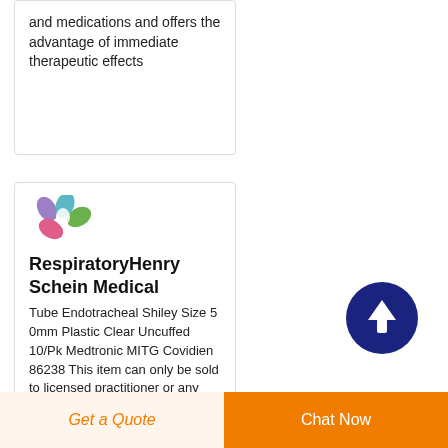and medications and offers the advantage of immediate therapeutic effects
[Figure (logo): Henry Schein Medical colorful pills/capsules logo]
RespiratoryHenry Schein Medical
Tube Endotracheal Shiley Size 5 0mm Plastic Clear Uncuffed 10/Pk Medtronic MITG Covidien 86238 This item can only be sold to licensed practitioner or any other person s or entity licensed by the State Compare
[Figure (other): Dark blue circle scroll-to-top button with upward arrow]
Get a Quote   Chat Now